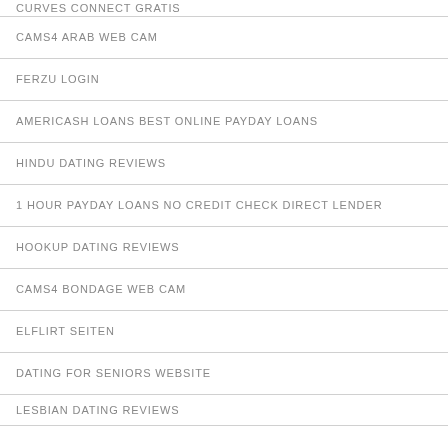CURVES CONNECT GRATIS
CAMS4 ARAB WEB CAM
FERZU LOGIN
AMERICASH LOANS BEST ONLINE PAYDAY LOANS
HINDU DATING REVIEWS
1 HOUR PAYDAY LOANS NO CREDIT CHECK DIRECT LENDER
HOOKUP DATING REVIEWS
CAMS4 BONDAGE WEB CAM
ELFLIRT SEITEN
DATING FOR SENIORS WEBSITE
LESBIAN DATING REVIEWS